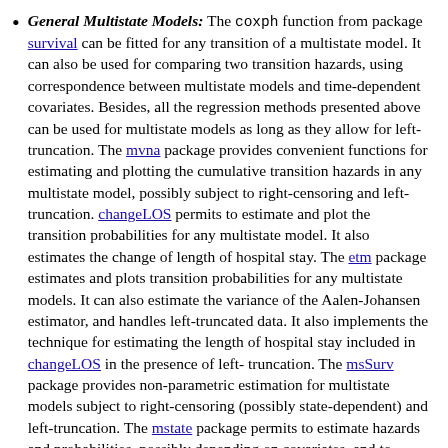General Multistate Models: The coxph function from package survival can be fitted for any transition of a multistate model. It can also be used for comparing two transition hazards, using correspondence between multistate models and time-dependent covariates. Besides, all the regression methods presented above can be used for multistate models as long as they allow for left-truncation. The mvna package provides convenient functions for estimating and plotting the cumulative transition hazards in any multistate model, possibly subject to right-censoring and left-truncation. changeLOS permits to estimate and plot the transition probabilities for any multistate model. It also estimates the change of length of hospital stay. The etm package estimates and plots transition probabilities for any multistate models. It can also estimate the variance of the Aalen-Johansen estimator, and handles left-truncated data. It also implements the technique for estimating the length of hospital stay included in changeLOS in the presence of left-truncation. The msSurv package provides non-parametric estimation for multistate models subject to right-censoring (possibly state-dependent) and left-truncation. The mstate package permits to estimate hazards and probabilities, possibly depending on covariates, and to obtain prediction probabilities in the context of competing risks and multistate models. The msm package contains functions for fitting...